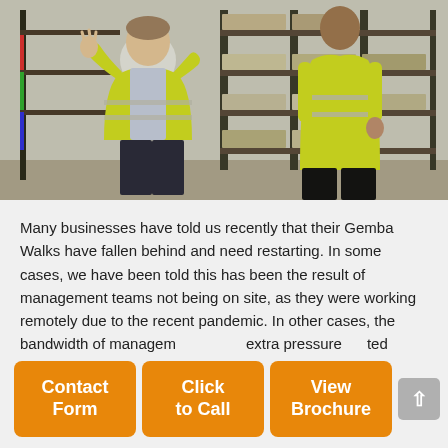[Figure (photo): Two workers in yellow high-visibility vests in a warehouse with shelving racks stocked with boxes and goods. One worker facing the other appears to be speaking with hands raised.]
Many businesses have told us recently that their Gemba Walks have fallen behind and need restarting. In some cases, we have been told this has been the result of management teams not being on site, as they were working remotely due to the recent pandemic. In other cases, the bandwidth of management... extra pressure... ted supply ch...
Contact Form
Click to Call
View Brochure